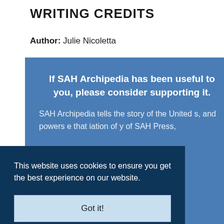WRITING CREDITS
Author: Julie Nicoletta
If SAH Archipedia has been useful to you, please consider supporting it.
SAH Archipedia tells the story of the United s, and powers e that iation of y of SAH Press,
This website uses cookies to ensure you get the best experience on our website.
Got it!